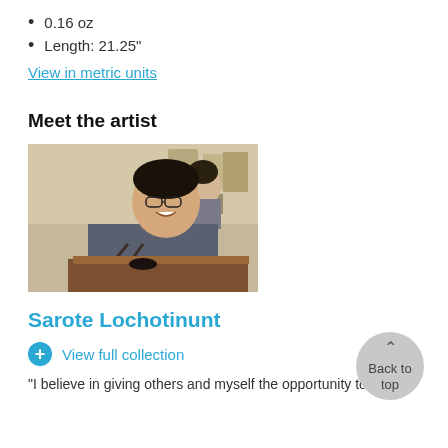0.16 oz
Length: 21.25"
View in metric units
Meet the artist
[Figure (photo): A smiling Asian man wearing glasses and a blue-grey shirt, working in a workshop with metal rods in his hands. Another person is visible in the background.]
Sarote Lochotinunt
View full collection
"I believe in giving others and myself the opportunity to